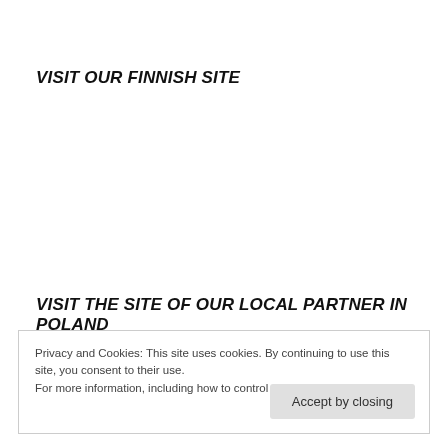VISIT OUR FINNISH SITE
VISIT THE SITE OF OUR LOCAL PARTNER IN POLAND
Privacy and Cookies: This site uses cookies. By continuing to use this site, you consent to their use.
For more information, including how to control cookies, see: Cookie-policy
Accept by closing